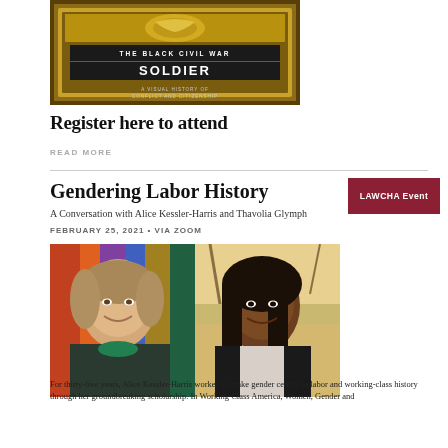[Figure (photo): Book cover of 'The Black Civil War Soldier: A Visual History of Conflict and Citizenship' shown in a decorative golden frame]
Register here to attend
READ MORE
Gendering Labor History
LAWCHA Event
A Conversation with Alice Kessler-Harris and Thavolia Glymph
FEBRUARY 25, 2021 • VIA ZOOM
[Figure (photo): Side-by-side photos of two women: Alice Kessler-Harris (left, older white woman with gray-brown hair, smiling) and Thavolia Glymph (right, Black woman with long dark hair, smiling)]
For thirty-five years, Alice Kessler-Harris worked to make gender central to labor and working-class history through her groundbreaking scholarship. In Working Class America, Women, Gender and